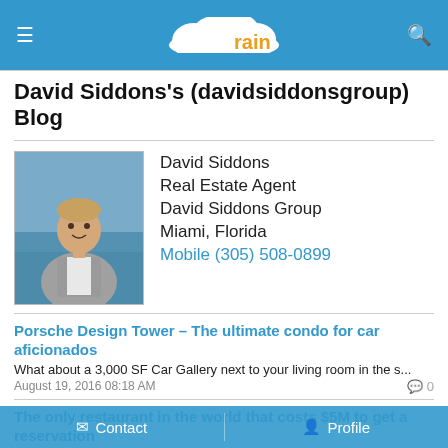activerain
David Siddons's (davidsiddonsgroup) Blog
[Figure (photo): Profile photo of David Siddons, a man in a grey suit standing outdoors near a pool]
David Siddons
Real Estate Agent
David Siddons Group
Miami, Florida
Mobile (305) 508-0899
Porsche Design Tower – The ultimate condo for car aficionados
What about a 3,000 SF Car Gallery next to your living room in the s...
August 19, 2016 08:18 AM
The only restaurant in the world that costs $5M to get a reservation
Welcome to the world of ultra-luxurious condo towers | Introducing ...
August 19, 2016 06:36 AM
Porsche Design Tower - Is this the Best Luxury Condo in Sunny Isles?
What makes a building the most luxurious or best in Sunny Isles
Contact   Profile